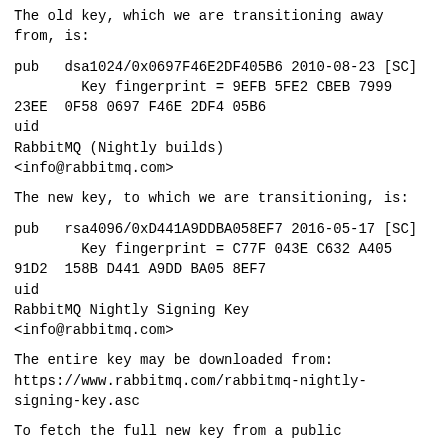The old key, which we are transitioning away from, is:
pub   dsa1024/0x0697F46E2DF405B6 2010-08-23 [SC]
        Key fingerprint = 9EFB 5FE2 CBEB 7999 23EE  0F58 0697 F46E 2DF4 05B6
uid
RabbitMQ (Nightly builds)
<info@rabbitmq.com>
The new key, to which we are transitioning, is:
pub   rsa4096/0xD441A9DDBA058EF7 2016-05-17 [SC]
        Key fingerprint = C77F 043E C632 A405 91D2  158B D441 A9DD BA05 8EF7
uid
RabbitMQ Nightly Signing Key
<info@rabbitmq.com>
The entire key may be downloaded from:
https://www.rabbitmq.com/rabbitmq-nightly-signing-key.asc
To fetch the full new key from a public